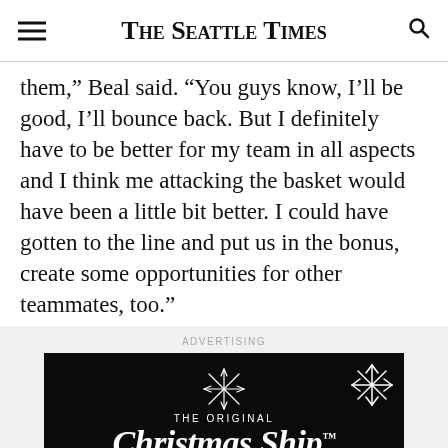The Seattle Times
them,” Beal said. “You guys know, I’ll be good, I’ll bounce back. But I definitely have to be better for my team in all aspects and I think me attacking the basket would have been a little bit better. I could have gotten to the line and put us in the bonus, create some opportunities for other teammates, too.”
ADVERTISING
[Figure (illustration): The Original Christmas Ship Festival advertisement on a black background with star and snowflake decorations. Text reads: THE ORIGINAL Christmas Ship FESTIVAL. More than 70 years of tradition]